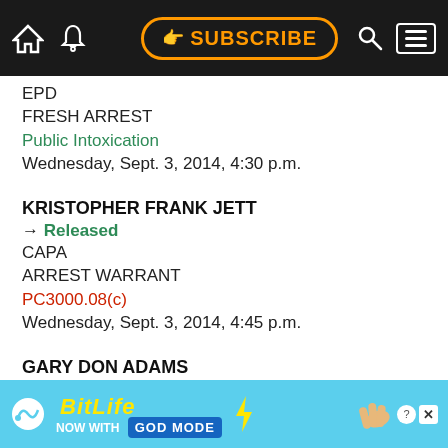SUBSCRIBE navigation bar
EPD
FRESH ARREST
Public Intoxication
Wednesday, Sept. 3, 2014, 4:30 p.m.
KRISTOPHER FRANK JETT
→ Released
CAPA
ARREST WARRANT
PC3000.08(c)
Wednesday, Sept. 3, 2014, 4:45 p.m.
GARY DON ADAMS
→ Released
CHPG
FRESH ARREST
Public Intoxication
Wednesday, Sept. 3, 2014, 5:47 p.m.
[Figure (screenshot): BitLife advertisement banner - NOW WITH GOD MODE]